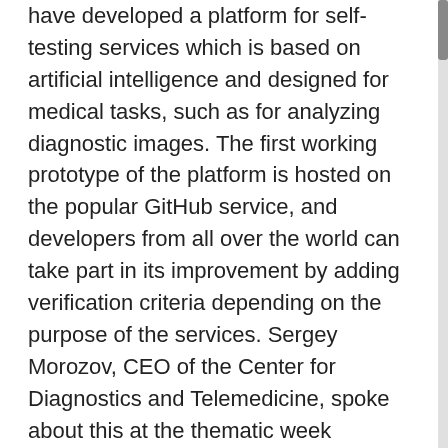have developed a platform for self-testing services which is based on artificial intelligence and designed for medical tasks, such as for analyzing diagnostic images. The first working prototype of the platform is hosted on the popular GitHub service, and developers from all over the world can take part in its improvement by adding verification criteria depending on the purpose of the services. Sergey Morozov, CEO of the Center for Diagnostics and Telemedicine, spoke about this at the thematic week dedicated to artificial intelligence which was part of the program of the European Congress of Radiology (ECR 2020).
Before implementing a service based on artificial intelligence (AI) into routine clinical practice, it is necessary to test it for technical readiness, as well as to verify whether it meets the stated characteristics. It is called analytical validation of the algorithm. The services that have passed it are allowed to be integrated into medical systems, including city healthcare.